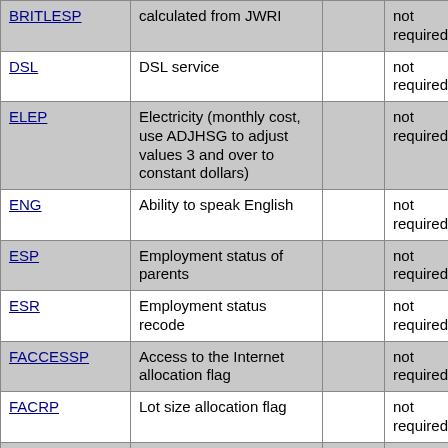| Variable | Description |  | Requirement |  |
| --- | --- | --- | --- | --- |
| BRITLESP | calculated from JWRI |  | not required |  |
| DSL | DSL service |  | not required |  |
| ELEP | Electricity (monthly cost, use ADJHSG to adjust values 3 and over to constant dollars) |  | not required |  |
| ENG | Ability to speak English |  | not required |  |
| ESP | Employment status of parents |  | not required |  |
| ESR | Employment status recode |  | not required |  |
| FACCESSP | Access to the Internet allocation flag |  | not required |  |
| FACRP | Lot size allocation flag |  | not required |  |
| FAGEP | Age allocation flag |  | not required |  |